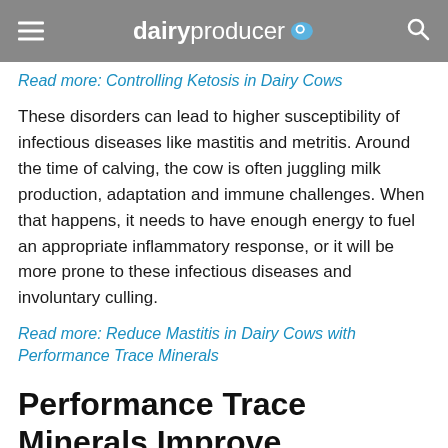dairyproducer
Read more: Controlling Ketosis in Dairy Cows
These disorders can lead to higher susceptibility of infectious diseases like mastitis and metritis. Around the time of calving, the cow is often juggling milk production, adaptation and immune challenges. When that happens, it needs to have enough energy to fuel an appropriate inflammatory response, or it will be more prone to these infectious diseases and involuntary culling.
Read more: Reduce Mastitis in Dairy Cows with Performance Trace Minerals
Performance Trace Minerals Improve Immune Response